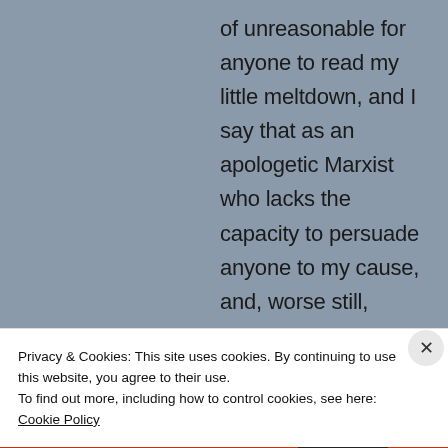of unreasonable for anyone to read my little meltdown, and I say that as an apologetic Marxist who lacks the capacity to persuade anyone to my cause, and, worse still,
Privacy & Cookies: This site uses cookies. By continuing to use this website, you agree to their use.
To find out more, including how to control cookies, see here: Cookie Policy
Close and accept